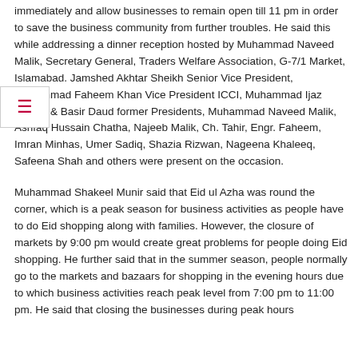immediately and allow businesses to remain open till 11 pm in order to save the business community from further troubles. He said this while addressing a dinner reception hosted by Muhammad Naveed Malik, Secretary General, Traders Welfare Association, G-7/1 Market, Islamabad. Jamshed Akhtar Sheikh Senior Vice President, Muhammad Faheem Khan Vice President ICCI, Muhammad Ijaz Abbasi & Basir Daud former Presidents, Muhammad Naveed Malik, Ashfaq Hussain Chatha, Najeeb Malik, Ch. Tahir, Engr. Faheem, Imran Minhas, Umer Sadiq, Shazia Rizwan, Nageena Khaleeq, Safeena Shah and others were present on the occasion.
Muhammad Shakeel Munir said that Eid ul Azha was round the corner, which is a peak season for business activities as people have to do Eid shopping along with families. However, the closure of markets by 9:00 pm would create great problems for people doing Eid shopping. He further said that in the summer season, people normally go to the markets and bazaars for shopping in the evening hours due to which business activities reach peak level from 7:00 pm to 11:00 pm. He said that closing the businesses during peak hours